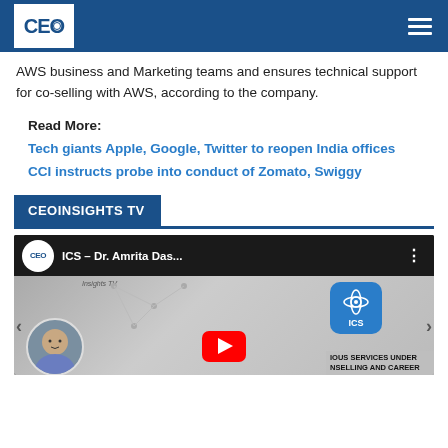CEO Insights TV
AWS business and Marketing teams and ensures technical support for co-selling with AWS, according to the company.
Read More:
Tech giants Apple, Google, Twitter to reopen India offices
CCI instructs probe into conduct of Zomato, Swiggy
CEOINSIGHTS TV
[Figure (screenshot): YouTube video thumbnail showing ICS – Dr. Amrita Das... with CEO Insights TV logo circle, ICS app icon, red YouTube play button, a woman's portrait circle, and partial text 'IOUS SERVICES UNDER NSELLING AND CAREER' at bottom right]